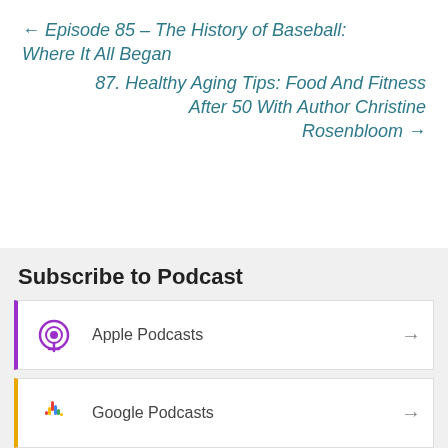← Episode 85 – The History of Baseball: Where It All Began
87. Healthy Aging Tips: Food And Fitness After 50 With Author Christine Rosenbloom →
Subscribe to Podcast
Apple Podcasts →
Google Podcasts →
Android →